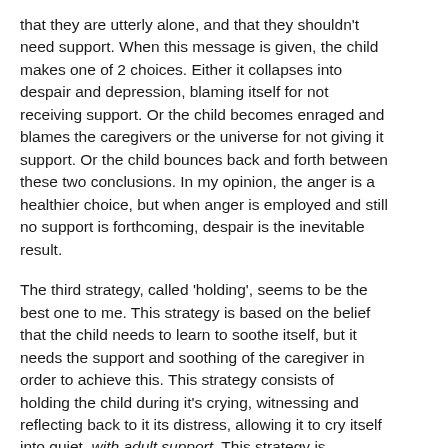that they are utterly alone, and that they shouldn't need support. When this message is given, the child makes one of 2 choices. Either it collapses into despair and depression, blaming itself for not receiving support. Or the child becomes enraged and blames the caregivers or the universe for not giving it support. Or the child bounces back and forth between these two conclusions. In my opinion, the anger is a healthier choice, but when anger is employed and still no support is forthcoming, despair is the inevitable result.
The third strategy, called 'holding', seems to be the best one to me. This strategy is based on the belief that the child needs to learn to soothe itself, but it needs the support and soothing of the caregiver in order to achieve this. This strategy consists of holding the child during it's crying, witnessing and reflecting back to it its distress, allowing it to cry itself into quiet, with adult support. This strategy is employed (as are the other 2) only after the physical needs of the infant have been met.
For years, as an adult, my strategy for the distress of disconnection was to turn the blame upon myself and become depressed, self-sabotaging, and self-destructive. I first denied, then resisted